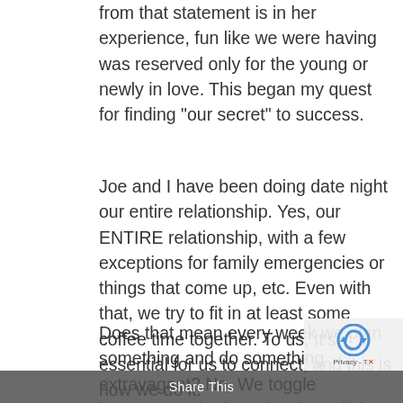from that statement is in her experience, fun like we were having was reserved only for the young or newly in love. This began my quest for finding “our secret” to success.
Joe and I have been doing date night our entire relationship. Yes, our ENTIRE relationship, with a few exceptions for family emergencies or things that come up, etc. Even with that, we try to fit in at least some coffee time together. To us, It’s essential for us to connect, and this is how we do it.
Does that mean every week we plan something and do something extravagant? No. We toggle between each of us planning a little something and requesting time to snuggle up or lay low and just be with each other. It doesn’t have to be a big deal, it just needs to be intentional. Even when we had children all around, we’d sneak away to go